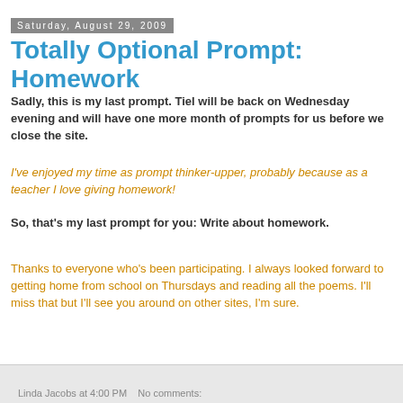Saturday, August 29, 2009
Totally Optional Prompt: Homework
Sadly, this is my last prompt. Tiel will be back on Wednesday evening and will have one more month of prompts for us before we close the site.
I've enjoyed my time as prompt thinker-upper, probably because as a teacher I love giving homework!
So, that's my last prompt for you: Write about homework.
Thanks to everyone who's been participating. I always looked forward to getting home from school on Thursdays and reading all the poems. I'll miss that but I'll see you around on other sites, I'm sure.
Linda Jacobs at 4:00 PM   No comments: